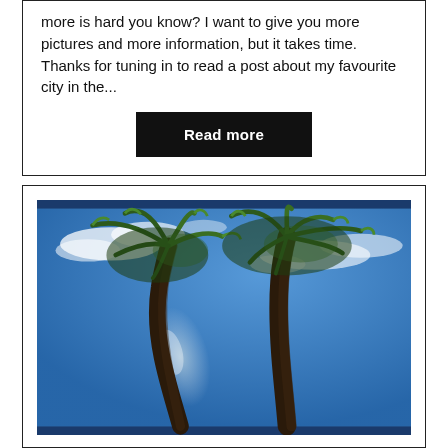more is hard you know? I want to give you more pictures and more information, but it takes time. Thanks for tuning in to read a post about my favourite city in the...
Read more
[Figure (photo): Upward-looking photo of two palm trees against a bright blue sky with scattered white clouds, sunlight visible between the trunks.]